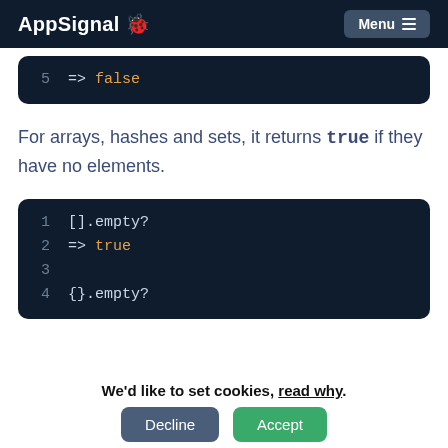AppSignal 🐞 Menu ≡
[Figure (screenshot): Code block showing: 5   => false]
For arrays, hashes and sets, it returns true if they have no elements.
[Figure (screenshot): Code block showing: 1   [].empty?  2   => true  3     4   {}.empty?  5   ...]
We'd like to set cookies, read why.
Decline  Accept